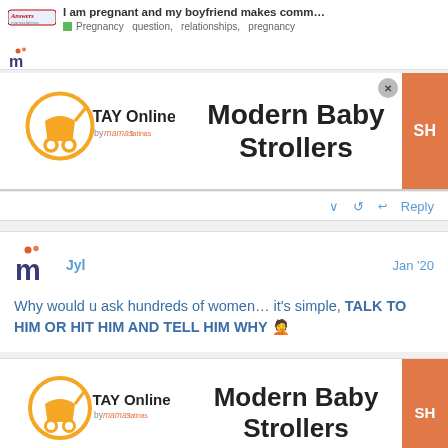I am pregnant and my boyfriend makes comm... | Pregnancy question, relationships, pregnancy
[Figure (screenshot): Answers mamaslatinas logo and site header with question title and tags]
[Figure (logo): TAY Online by mamas - baby stroller ad banner showing Modern Baby Strollers]
Reply
[Figure (screenshot): User avatar - letter m with two orange dots]
Jyl
Jan '20
Why would u ask hundreds of women… it's simple, TALK TO HIM OR HIT HIM AND TELL HIM WHY 🤦
[Figure (logo): TAY Online by mamas - baby stroller ad banner showing Modern Baby Strollers (second instance)]